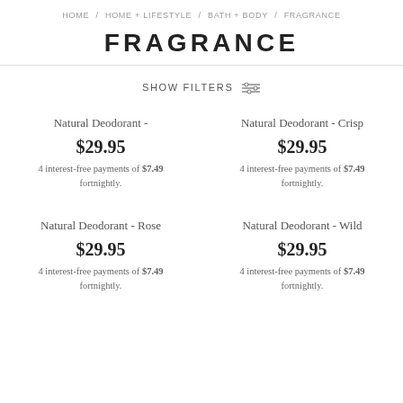HOME / HOME + LIFESTYLE / BATH + BODY / FRAGRANCE
FRAGRANCE
SHOW FILTERS
Natural Deodorant - 
$29.95
4 interest-free payments of $7.49 fortnightly.
Natural Deodorant - Crisp
$29.95
4 interest-free payments of $7.49 fortnightly.
Natural Deodorant - Rose
$29.95
4 interest-free payments of $7.49 fortnightly.
Natural Deodorant - Wild
$29.95
4 interest-free payments of $7.49 fortnightly.